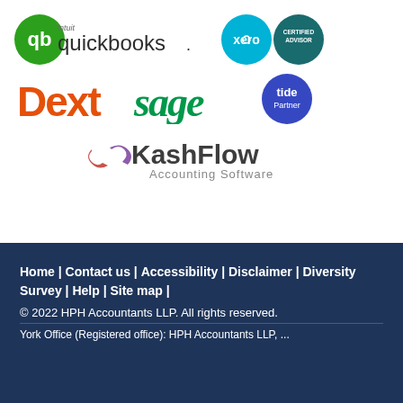[Figure (logo): Partner software logos: QuickBooks, Xero Certified Advisor, Dext, Sage, Tide Partner, KashFlow Accounting Software]
Home | Contact us | Accessibility | Disclaimer | Diversity Survey | Help | Site map |
© 2022 HPH Accountants LLP. All rights reserved.
York Office (Registered office): HPH Accountants LLP, ...